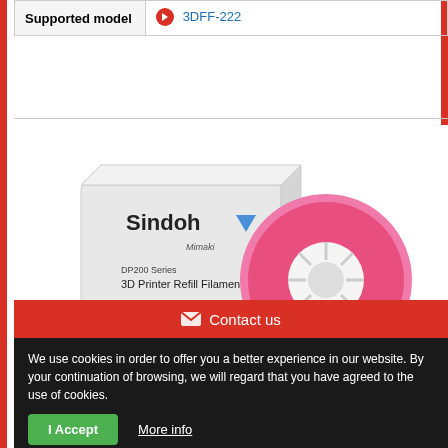| Supported model |  |
| --- | --- |
| Supported model | 3DFF-222 |
[Figure (photo): Sindoh DP200 Series 3D Printer Refill Filament box with a pink/magenta filament spool and a small green chip, branded with Mimaki logo]
Contact us
We use cookies in order to offer you a better experience in our website. By your continuation of browsing, we will regard that you have agreed to the use of cookies.
I Accept
More info